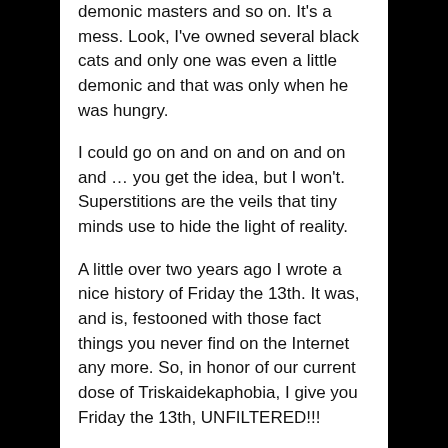demonic masters and so on. It's a mess. Look, I've owned several black cats and only one was even a little demonic and that was only when he was hungry.
I could go on and on and on and on and … you get the idea, but I won't. Superstitions are the veils that tiny minds use to hide the light of reality.
A little over two years ago I wrote a nice history of Friday the 13th. It was, and is, festooned with those fact things you never find on the Internet any more. So, in honor of our current dose of Triskaidekaphobia, I give you Friday the 13th, UNFILTERED!!!
MU HU HA HA HA